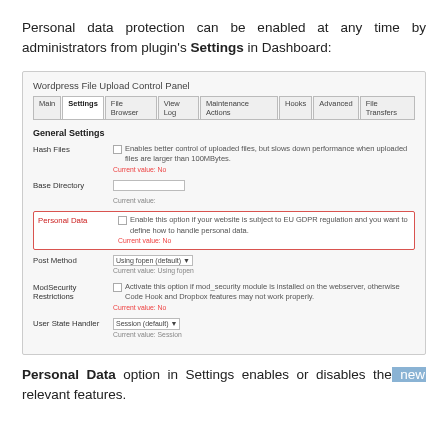Personal data protection can be enabled at any time by administrators from plugin's Settings in Dashboard:
[Figure (screenshot): Screenshot of WordPress File Upload Control Panel showing General Settings tab with fields: Hash Files, Base Directory, Personal Data (highlighted with red border), Post Method, ModSecurity Restrictions, User State Handler]
Personal Data option in Settings enables or disables the new relevant features.